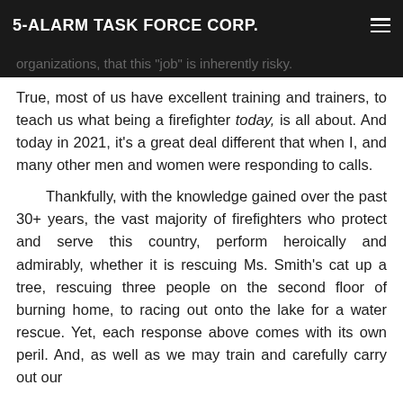5-ALARM TASK FORCE CORP.
organizations, that this "job" is inherently risky.
True, most of us have excellent training and trainers, to teach us what being a firefighter today, is all about. And today in 2021, it's a great deal different that when I, and many other men and women were responding to calls.
Thankfully, with the knowledge gained over the past 30+ years, the vast majority of firefighters who protect and serve this country, perform heroically and admirably, whether it is rescuing Ms. Smith's cat up a tree, rescuing three people on the second floor of burning home, to racing out onto the lake for a water rescue. Yet, each response above comes with its own peril. And, as well as we may train and carefully carry out our